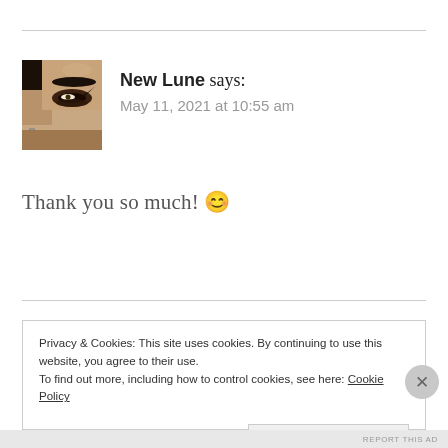[Figure (photo): Avatar photo of a woman with dramatic eye makeup and long nails, closeup of eyes and forehead]
New Lune says:
May 11, 2021 at 10:55 am
Thank you so much! 😊
Privacy & Cookies: This site uses cookies. By continuing to use this website, you agree to their use.
To find out more, including how to control cookies, see here: Cookie Policy
Close and accept